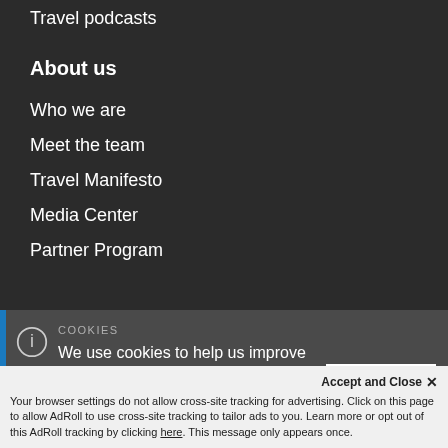Travel podcasts
About us
Who we are
Meet the team
Travel Manifesto
Media Center
Partner Program
COOKIES
We use cookies to help us improve website user experience. If you continue, we'll assume that you are happy for us to use cookies for this
Accept and Close ✕
Your browser settings do not allow cross-site tracking for advertising. Click on this page to allow AdRoll to use cross-site tracking to tailor ads to you. Learn more or opt out of this AdRoll tracking by clicking here. This message only appears once.